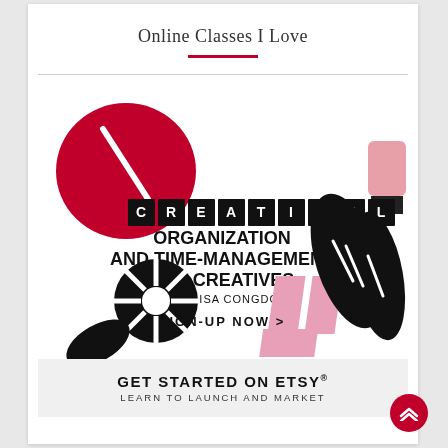Online Classes I Love
[Figure (illustration): CreativeLive banner ad for 'Organization and Time-Management for Creatives with Lisa Congdon' with a Sign-Up Now button. Features graphic design elements including red and pink shapes, black illustrated hands, and the CreativeLive logo in black tiles with white letters.]
[Figure (illustration): Get Started on Etsy banner — 'GET STARTED ON ETSY® LEARN TO LAUNCH AND MARKET' in bold black sans-serif on light gray background.]